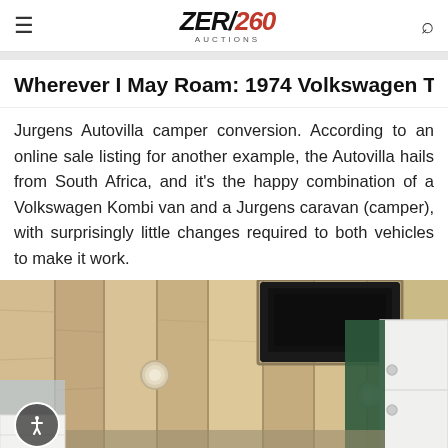Zero 260 Auctions
Wherever I May Roam: 1974 Volkswagen Type 2 Ju...
Jurgens Autovilla camper conversion. According to an online sale listing for another example, the Autovilla hails from South Africa, and it’s the happy combination of a Volkswagen Kombi van and a Jurgens caravan (camper), with surprisingly little changes required to both vehicles to make it work.
[Figure (photo): Interior photo of a camper van showing a wood-paneled ceiling with a skylight/hatch opening, recessed lighting, and white cabinetry with green accent wall visible on the right side.]